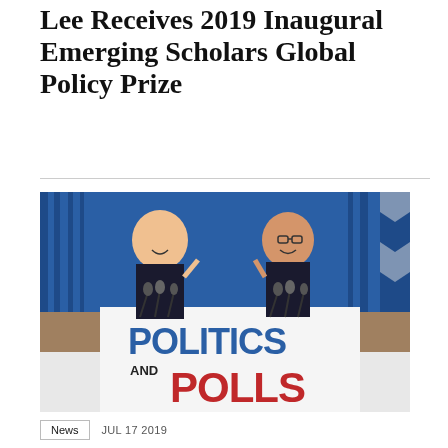Lee Receives 2019 Inaugural Emerging Scholars Global Policy Prize
[Figure (photo): Promotional image for the 'Politics and Polls' podcast featuring two figures at a press conference podium with microphones, with bold text reading 'POLITICS AND POLLS' in blue and red letters.]
News  JUL 17 2019
Politics & Polls #147: Reagan's Tax…